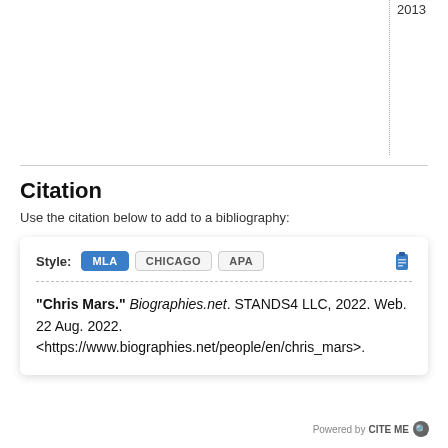Citation
Use the citation below to add to a bibliography:
"Chris Mars." Biographies.net. STANDS4 LLC, 2022. Web. 22 Aug. 2022. <https://www.biographies.net/people/en/chris_mars>.
Powered by CITEME